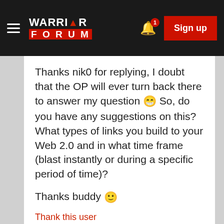[Figure (screenshot): Warrior Forum navigation bar with hamburger menu, logo, bell notification icon with badge '1', and red Sign up button]
Thanks nik0 for replying, I doubt that the OP will ever turn back there to answer my question 😁 So, do you have any suggestions on this? What types of links you build to your Web 2.0 and in what time frame (blast instantly or during a specific period of time)?
Thanks buddy 🙂
Thank this user
SIGNATURE
Failure Is Temporary, Giving Up Makes It P...